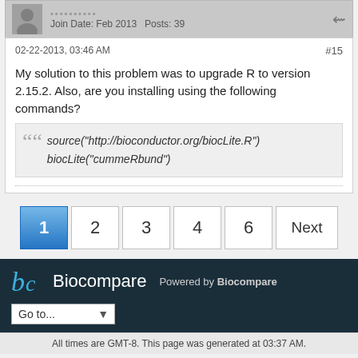Join Date: Feb 2013   Posts: 39
02-22-2013, 03:46 AM  #15
My solution to this problem was to upgrade R to version 2.15.2. Also, are you installing using the following commands?
source("http://bioconductor.org/biocLite.R")
biocLite("cummeRbund")
1  2  3  4  6  Next
Biocompare  Powered by Biocompare
Go to...
All times are GMT-8. This page was generated at 03:37 AM.